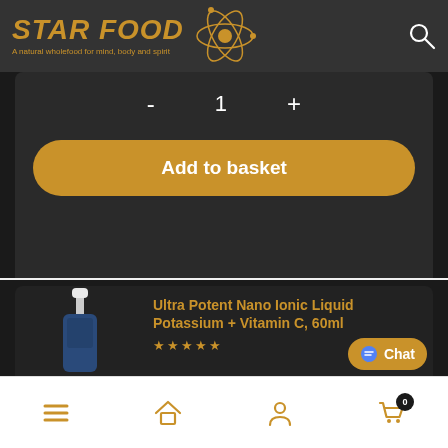STAR FOOD — A natural wholefood for mind, body and spirit
- 1 +
Add to basket
Ultra Potent Nano Ionic Liquid Potassium + Vitamin C, 60ml
★★★★★
Chat
Navigation: menu, home, account, cart (0)